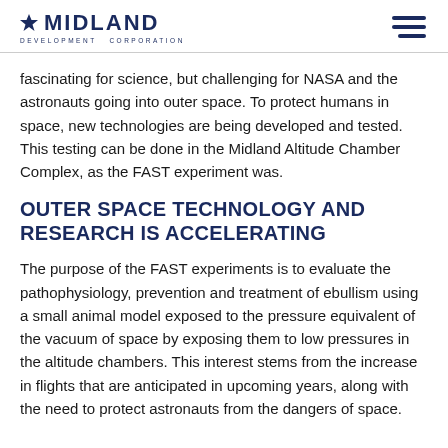MIDLAND DEVELOPMENT CORPORATION
fascinating for science, but challenging for NASA and the astronauts going into outer space. To protect humans in space, new technologies are being developed and tested. This testing can be done in the Midland Altitude Chamber Complex, as the FAST experiment was.
OUTER SPACE TECHNOLOGY AND RESEARCH IS ACCELERATING
The purpose of the FAST experiments is to evaluate the pathophysiology, prevention and treatment of ebullism using a small animal model exposed to the pressure equivalent of the vacuum of space by exposing them to low pressures in the altitude chambers. This interest stems from the increase in flights that are anticipated in upcoming years, along with the need to protect astronauts from the dangers of space.